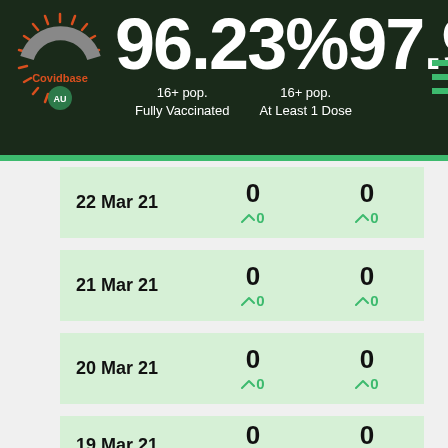[Figure (infographic): Covidbase AU logo — a stylized coronavirus graphic with orange spikes around a grey arc, and orange text 'Covidbase' with 'AU' in green circle]
96.23% 97.91%
16+ pop. Fully Vaccinated   16+ pop. At Least 1 Dose
| Date | Fully Vaccinated | At Least 1 Dose |
| --- | --- | --- |
| 22 Mar 21 | 0 ↗0 | 0 ↗0 |
| 21 Mar 21 | 0 ↗0 | 0 ↗0 |
| 20 Mar 21 | 0 ↗0 | 0 ↗0 |
| 19 Mar 21 | 0 ↗0 | 0 ↗0 |